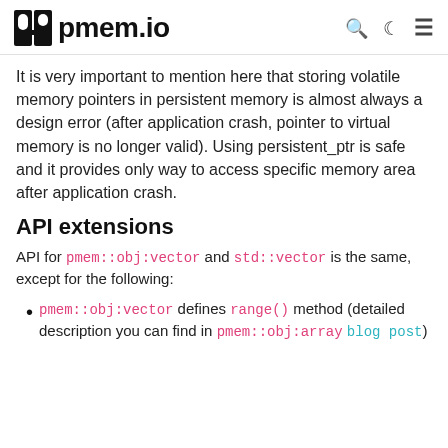pmem.io
It is very important to mention here that storing volatile memory pointers in persistent memory is almost always a design error (after application crash, pointer to virtual memory is no longer valid). Using persistent_ptr is safe and it provides only way to access specific memory area after application crash.
API extensions
API for pmem::obj:vector and std::vector is the same, except for the following:
pmem::obj:vector defines range() method (detailed description you can find in pmem::obj:array blog post)